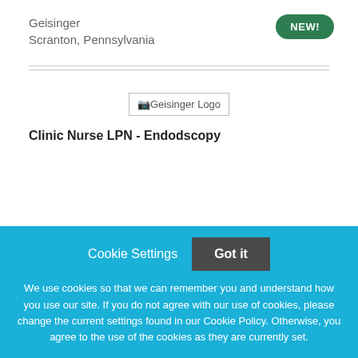Geisinger
Scranton, Pennsylvania
[Figure (logo): Geisinger Logo]
Clinic Nurse LPN - Endodscopy
Cookie Settings   Got it

We use cookies so that we can remember you and understand how you use our site. If you do not agree with our use of cookies, please change the current settings found in our Cookie Policy. Otherwise, you agree to the use of the cookies as they are currently set.